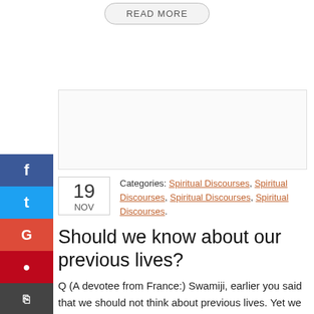[Figure (other): READ MORE button — a pill-shaped button with gray border and background, text 'READ MORE' in gray uppercase letters]
[Figure (other): Advertisement placeholder box with light gray border]
[Figure (other): Social sharing sidebar with Facebook (blue), Twitter (light blue), Google+ (red-orange), Pinterest (dark red), and Print (dark gray) icon buttons on the left side]
Categories: Spiritual Discourses, Spiritual Discourses, Spiritual Discourses, Spiritual Discourses.
Should we know about our previous lives?
Q (A devotee from France:) Swamiji, earlier you said that we should not think about previous lives. Yet we all have previous lives. Do you not